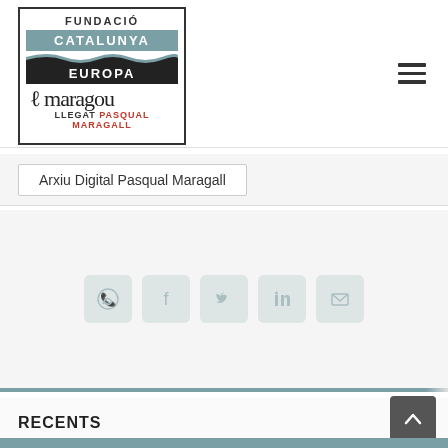[Figure (logo): Fundació Catalunya Europa - Llegat Pasqual Maragall logo with signature]
[Figure (infographic): Hamburger menu icon (three horizontal lines)]
Arxiu Digital Pasqual Maragall
[Figure (infographic): Social media share icons: WhatsApp, Facebook, Twitter, LinkedIn, Email]
RECENTS
[Figure (infographic): Back to top arrow button (dark grey square with upward chevron)]